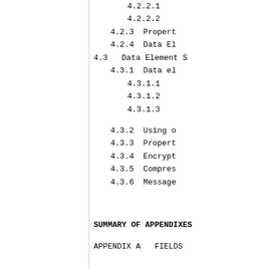4.2.2.1
4.2.2.2
4.2.3   Propert
4.2.4   Data El
4.3   Data Element S
4.3.1   Data el
4.3.1.1
4.3.1.2
4.3.1.3
4.3.2   Using o
4.3.3   Propert
4.3.4   Encrypt
4.3.5   Compres
4.3.6   Message
SUMMARY OF APPENDIXES
APPENDIX A   FIELDS